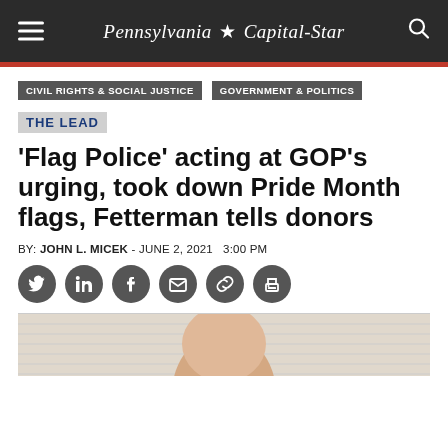Pennsylvania Capital-Star
CIVIL RIGHTS & SOCIAL JUSTICE   GOVERNMENT & POLITICS
THE LEAD
'Flag Police' acting at GOP's urging, took down Pride Month flags, Fetterman tells donors
BY: JOHN L. MICEK - JUNE 2, 2021   3:00 PM
[Figure (other): Social sharing icons: Twitter, LinkedIn, Facebook, Email, Link, Print]
[Figure (photo): Partial photo of a person's head, cropped at the top of the page's bottom edge]